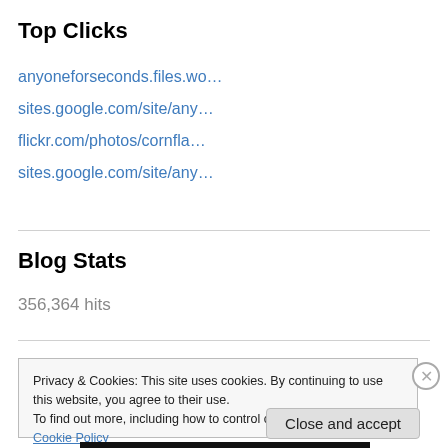Top Clicks
anyoneforseconds.files.wo…
sites.google.com/site/any…
flickr.com/photos/cornfla…
sites.google.com/site/any…
Blog Stats
356,364 hits
Privacy & Cookies: This site uses cookies. By continuing to use this website, you agree to their use.
To find out more, including how to control cookies, see here: Cookie Policy
Close and accept